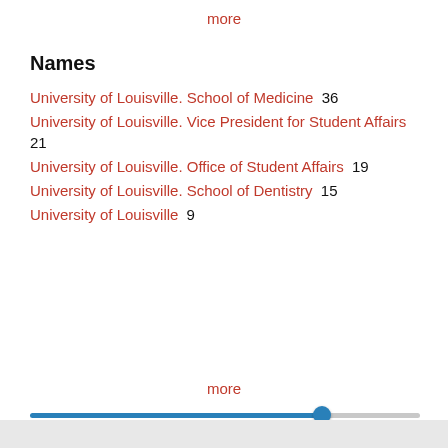more
Names
University of Louisville. School of Medicine  36
University of Louisville. Vice President for Student Affairs  21
University of Louisville. Office of Student Affairs  19
University of Louisville. School of Dentistry  15
University of Louisville  9
more